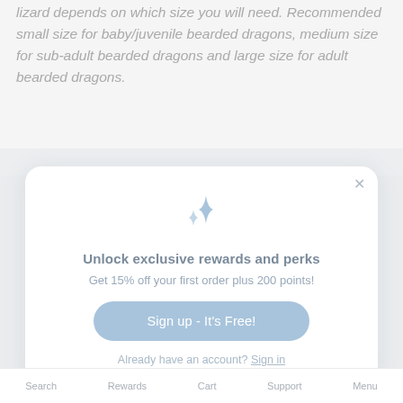lizard depends on which size you will need. Recommended small size for baby/juvenile bearded dragons, medium size for sub-adult bearded dragons and large size for adult bearded dragons.
[Figure (screenshot): Modal popup with sparkle icon, heading 'Unlock exclusive rewards and perks', subtext 'Get 15% off your first order plus 200 points!', a 'Sign up - It's Free!' button, and a 'Already have an account? Sign in' link. A close (×) button is in the top right corner.]
Search   Rewards   Cart   Support   Menu